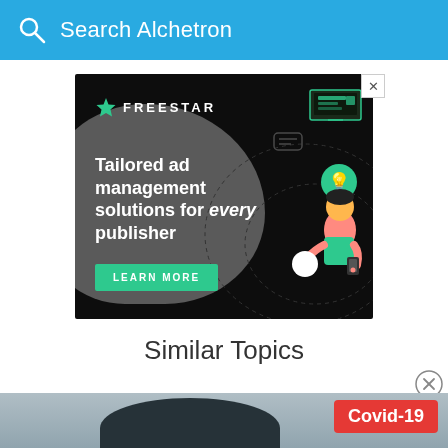Search Alchetron
[Figure (screenshot): Freestar advertisement banner with dark background. Text: 'Tailored ad management solutions for every publisher' with a 'LEARN MORE' button. Features illustrated person and tech icons.]
Similar Topics
[Figure (photo): Bottom strip showing partial image with a Covid-19 red badge label in the bottom right corner.]